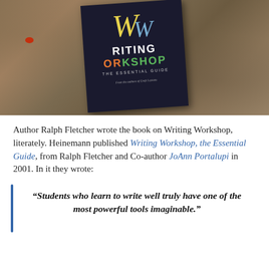[Figure (photo): A book titled 'Writing Workshop: The Essential Guide' by Ralph Fletcher and JoAnn Portalupi, placed on a stone/rock surface. The book cover features large decorative lettering with 'W' in yellow and blue, 'RITING' in white, 'OR' in orange, 'KSHOP' in green, and 'The Essential Guide' subtitle.]
Author Ralph Fletcher wrote the book on Writing Workshop, literately. Heinemann published Writing Workshop, the Essential Guide, from Ralph Fletcher and Co-author JoAnn Portalupi in 2001. In it they wrote:
“Students who learn to write well truly have one of the most powerful tools imaginable.”